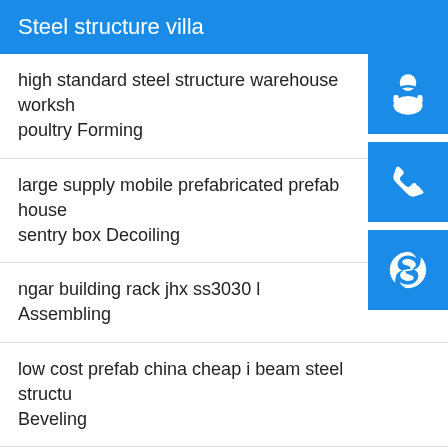Steel structure villa
high standard steel structure warehouse workshop poultry Forming
large supply mobile prefabricated prefab house sentry box Decoiling
ngar building rack jhx ss3030 l Assembling
low cost prefab china cheap i beam steel structure Beveling
prefabricated poultry house with full set breeding equipment Milling
super september new design labor use construction polishing